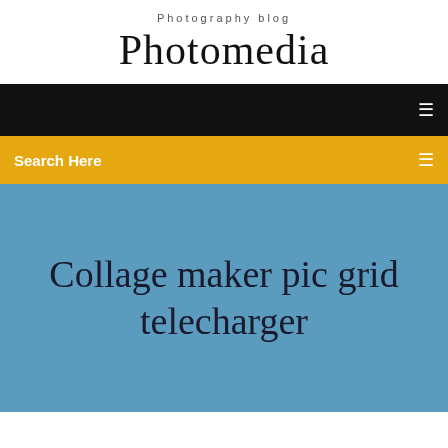Photography blog
Photomedia
[Figure (screenshot): Black navigation bar with hamburger menu icon on the right]
Search Here
Collage maker pic grid telecharger